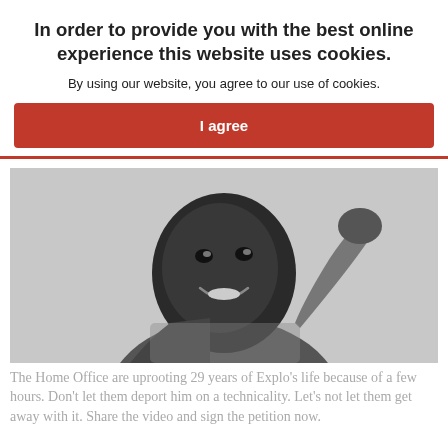In order to provide you with the best online experience this website uses cookies.
By using our website, you agree to our use of cookies.
I agree
[Figure (photo): Black and white photo of a smiling man with his hand raised to his head, wearing a light-coloured sweater, photographed close up.]
The Home Office are uprooting 29 years of Explo's life because of a few hours. Don't let them deport him on a technicality. Let's not let them get away with it. Share the video and sign the petition now.